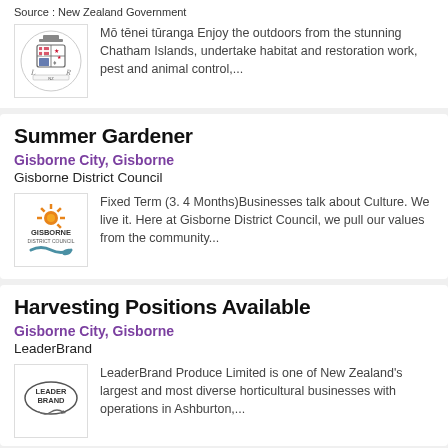Source : New Zealand Government
[Figure (logo): New Zealand Government coat of arms logo]
Mō tēnei tūranga Enjoy the outdoors from the stunning Chatham Islands, undertake habitat and restoration work, pest and animal control,...
Summer Gardener
Gisborne City, Gisborne
Gisborne District Council
[Figure (logo): Gisborne District Council logo]
Fixed Term (3. 4 Months)Businesses talk about Culture. We live it. Here at Gisborne District Council, we pull our values from the community...
Harvesting Positions Available
Gisborne City, Gisborne
LeaderBrand
[Figure (logo): LeaderBrand logo]
LeaderBrand Produce Limited is one of New Zealand's largest and most diverse horticultural businesses with operations in Ashburton,...